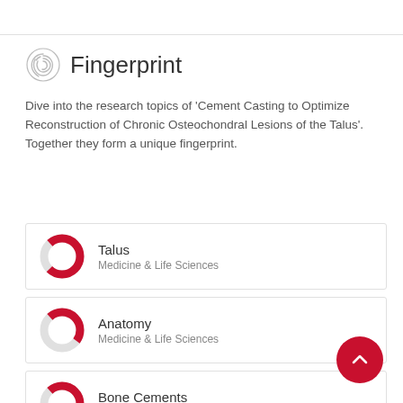Fingerprint
Dive into the research topics of 'Cement Casting to Optimize Reconstruction of Chronic Osteochondral Lesions of the Talus'. Together they form a unique fingerprint.
Talus
Medicine & Life Sciences
Anatomy
Medicine & Life Sciences
Bone Cements
Medicine & Life Sciences